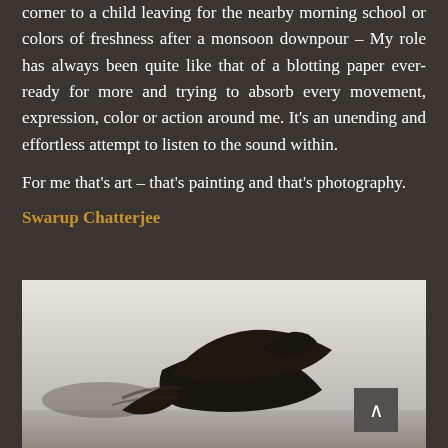corner to a child leaving for the nearby morning school or colors of freshness after a monsoon downpour – My role has always been quite like that of a blotting paper ever-ready for more and trying to absorb every movement, expression, color or action around me. It's an unending and effortless attempt to listen to the sound within.

For me that's art – that's painting and that's photography.
Swarup Chatterjee
[Figure (photo): Black and white photograph showing a dark silhouetted figure or animal (possibly a horse or large bird) against a light misty background. A small back-to-top arrow button appears in the bottom right corner.]